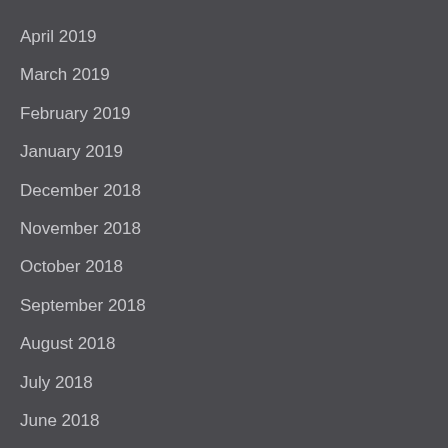April 2019
March 2019
February 2019
January 2019
December 2018
November 2018
October 2018
September 2018
August 2018
July 2018
June 2018
May 2018